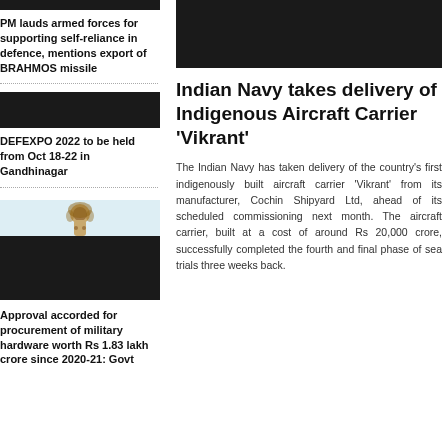[Figure (photo): Dark image at top of left column]
PM lauds armed forces for supporting self-reliance in defence, mentions export of BRAHMOS missile
[Figure (photo): Dark image in middle of left column]
DEFEXPO 2022 to be held from Oct 18-22 in Gandhinagar
[Figure (photo): Image with lion emblem figure and dark background in left column]
Approval accorded for procurement of military hardware worth Rs 1.83 lakh crore since 2020-21: Govt
[Figure (photo): Large dark image at top of right column]
Indian Navy takes delivery of Indigenous Aircraft Carrier 'Vikrant'
The Indian Navy has taken delivery of the country's first indigenously built aircraft carrier 'Vikrant' from its manufacturer, Cochin Shipyard Ltd, ahead of its scheduled commissioning next month. The aircraft carrier, built at a cost of around Rs 20,000 crore, successfully completed the fourth and final phase of sea trials three weeks back.